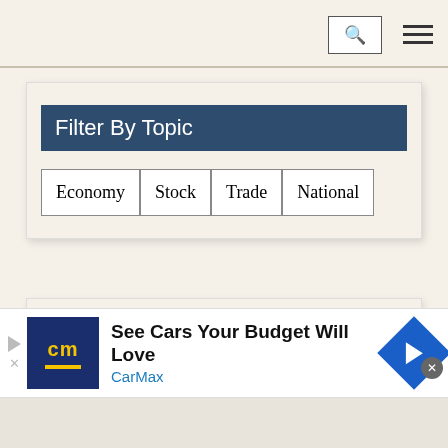Search | Menu
Filter By Topic
Economy
Stock
Trade
National
[Figure (screenshot): Empty content card area below filter]
[Figure (screenshot): CarMax advertisement banner: 'See Cars Your Budget Will Love' with CarMax logo and blue diamond arrow icon]